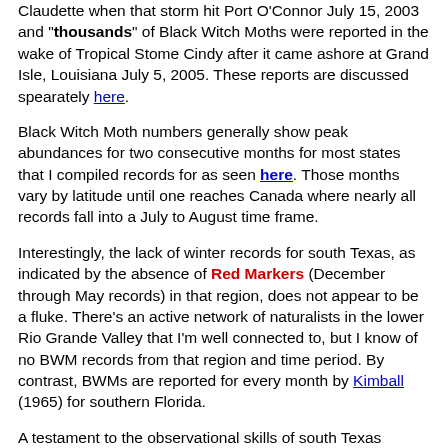Claudette when that storm hit Port O'Connor July 15, 2003 and "thousands" of Black Witch Moths were reported in the wake of Tropical Stome Cindy after it came ashore at Grand Isle, Louisiana July 5, 2005. These reports are discussed spearately here.
Black Witch Moth numbers generally show peak abundances for two consecutive months for most states that I compiled records for as seen here. Those months vary by latitude until one reaches Canada where nearly all records fall into a July to August time frame.
Interestingly, the lack of winter records for south Texas, as indicated by the absence of Red Markers (December through May records) in that region, does not appear to be a fluke. There's an active network of naturalists in the lower Rio Grande Valley that I'm well connected to, but I know of no BWM records from that region and time period. By contrast, BWMs are reported for every month by Kimball (1965) for southern Florida.
A testament to the observational skills of south Texas naturalists is evidenced by these photos shot in October of mature Black Witch Moth caterpillars from Starr and Hidalgo counties along the Rio Grande. Mature larvae have been reported from all three of Texas' southmost counties, as early as July 16th and as late as Oct. 23rd. The moth probably overwinters in the pupal stage in leaf litter or